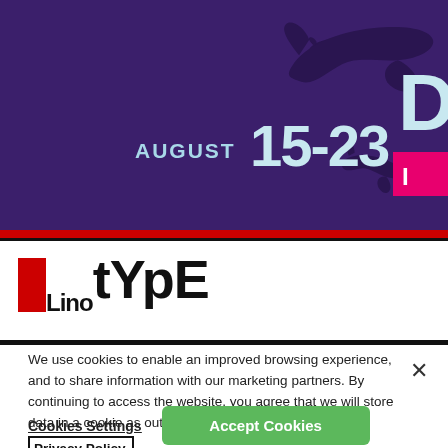[Figure (screenshot): Dark purple banner header with shark silhouettes, text 'AUGUST 15-23' in large stylized type, partial letter D and pink bar visible at right edge]
[Figure (logo): LinoType logo with red L mark and bold mixed-case typographic logo text]
We use cookies to enable an improved browsing experience, and to share information with our marketing partners. By continuing to access the website, you agree that we will store data in a cookie as outlined in our Privacy Policy.
Cookies Settings
Accept Cookies